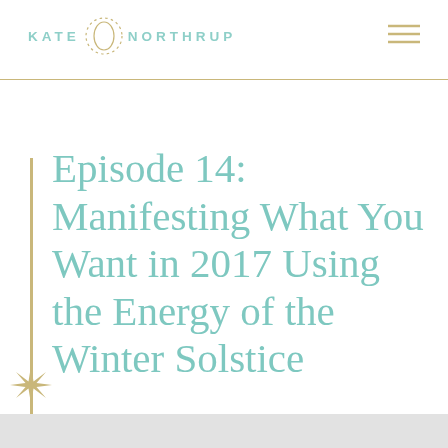KATE NORTHRUP
Episode 14: Manifesting What You Want in 2017 Using the Energy of the Winter Solstice